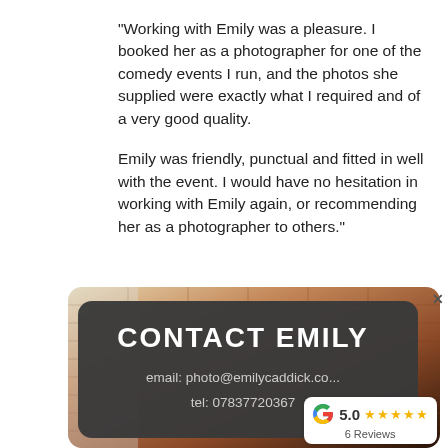"Working with Emily was a pleasure. I booked her as a photographer for one of the comedy events I run, and the photos she supplied were exactly what I required and of a very good quality.

Emily was friendly, punctual and fitted in well with the event. I would have no hesitation in working with Emily again, or recommending her as a photographer to others."
[Figure (photo): Dark rounded rectangle contact card overlaid on a brick wall interior photo, showing CONTACT EMILY heading, email and telephone number, with a Google 5.0 star rating badge (6 Reviews) in the bottom right corner.]